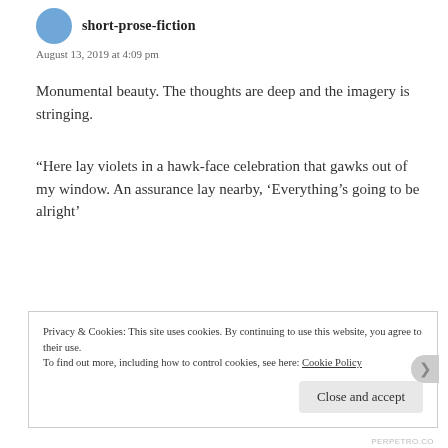short-prose-fiction
August 13, 2019 at 4:09 pm
Monumental beauty. The thoughts are deep and the imagery is stringing.
“Here lay violets in a hawk-face celebration that gawks out of my window. An assurance lay nearby, ‘Everything’s going to be alright’
“I placed a hand over another hand, and my legs crawled toward the accelerator, building up force, slower, slower still. I flew deep into the night.”
Privacy & Cookies: This site uses cookies. By continuing to use this website, you agree to their use.
To find out more, including how to control cookies, see here: Cookie Policy
Close and accept